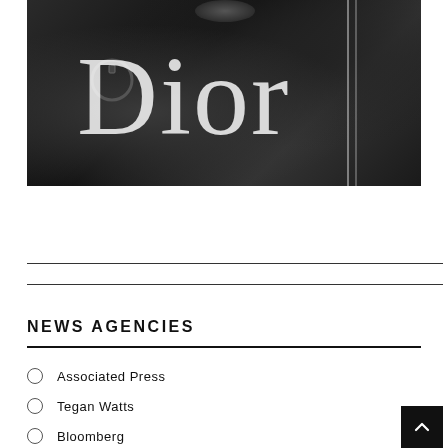[Figure (photo): Black and white fashion photo of a person in dark clothing with a bag, overlaid with large serif 'Dior' logotype text in white/light gray]
NEWS AGENCIES
Associated Press
Tegan Watts
Bloomberg